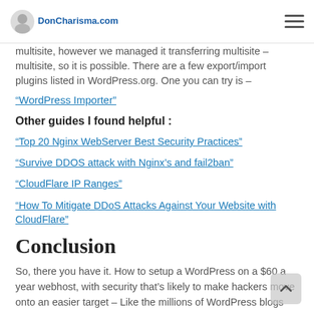DonCharisma.com
multisite, however we managed it transferring multisite – multisite, so it is possible. There are a few export/import plugins listed in WordPress.org. One you can try is –
“WordPress Importer”
Other guides I found helpful :
“Top 20 Nginx WebServer Best Security Practices”
“Survive DDOS attack with Nginx’s and fail2ban”
“CloudFlare IP Ranges”
“How To Mitigate DDoS Attacks Against Your Website with CloudFlare”
Conclusion
So, there you have it. How to setup a WordPress on a $60 a year webhost, with security that’s likely to make hackers move onto an easier target – Like the millions of WordPress blogs